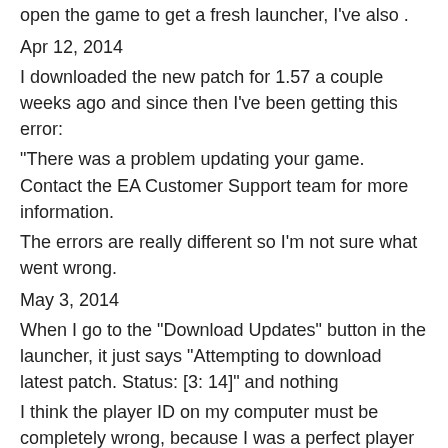open the game to get a fresh launcher, I've also .
Apr 12, 2014
I downloaded the new patch for 1.57 a couple weeks ago and since then I've been getting this error:
"There was a problem updating your game. Contact the EA Customer Support team for more information.
The errors are really different so I'm not sure what went wrong.
May 3, 2014
When I go to the "Download Updates" button in the launcher, it just says "Attempting to download latest patch. Status: [3: 14]" and nothing
I think the player ID on my computer must be completely wrong, because I was a perfect player once. Anyways, I did that (with the "Try again" option). It says
"Error in updated file, retrying later" and then gives me the same error again.